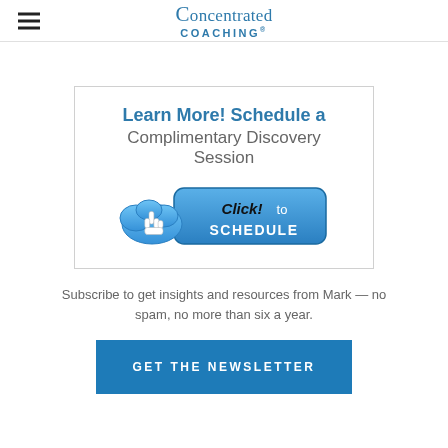Concentrated COACHING®
[Figure (infographic): A box with blue text 'Learn More! Schedule a' and gray text 'Complimentary Discovery Session', with a blue cloud hand-click button labeled 'Click! to SCHEDULE']
Subscribe to get insights and resources from Mark — no spam, no more than six a year.
[Figure (other): Blue button labeled 'GET THE NEWSLETTER']